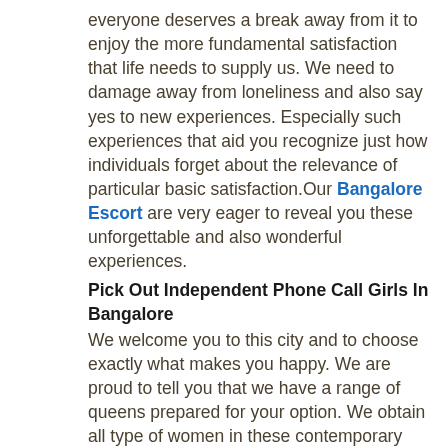everyone deserves a break away from it to enjoy the more fundamental satisfaction that life needs to supply us. We need to damage away from loneliness and also say yes to new experiences. Especially such experiences that aid you recognize just how individuals forget about the relevance of particular basic satisfaction.Our Bangalore Escort are very eager to reveal you these unforgettable and also wonderful experiences.
Pick Out Independent Phone Call Girls In Bangalore
We welcome you to this city and to choose exactly what makes you happy. We are proud to tell you that we have a range of queens prepared for your option. We obtain all type of women in these contemporary times as different requirements of beauty are obtaining more appropriate now.These independent escorts in Bangalore have a